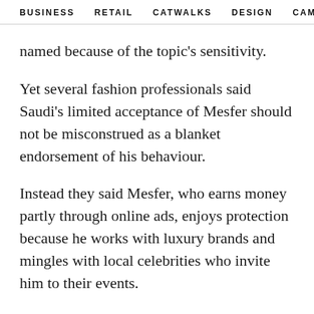BUSINESS   RETAIL   CATWALKS   DESIGN   CAMI  >
named because of the topic's sensitivity.
Yet several fashion professionals said Saudi's limited acceptance of Mesfer should not be misconstrued as a blanket endorsement of his behaviour.
Instead they said Mesfer, who earns money partly through online ads, enjoys protection because he works with luxury brands and mingles with local celebrities who invite him to their events.
"We see him as a model, as a kind of artist, so we can't judge him," Gucci's Mohammed said.